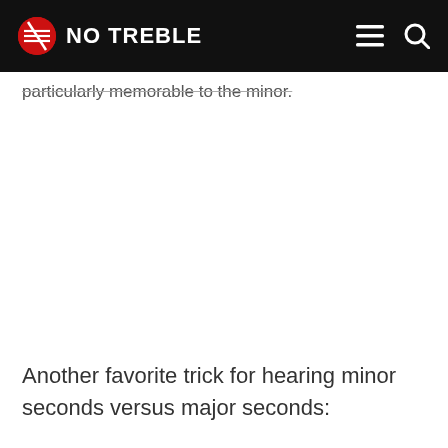NO TREBLE
particularly memorable to the minor.
Another favorite trick for hearing minor seconds versus major seconds: